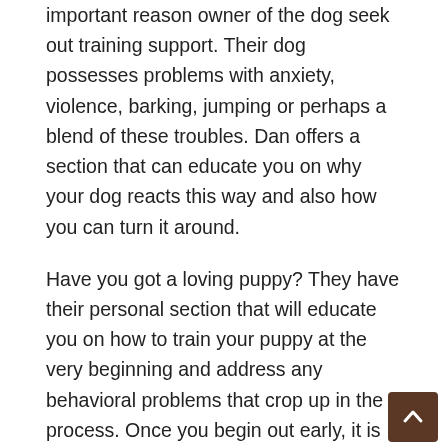important reason owner of the dog seek out training support. Their dog possesses problems with anxiety, violence, barking, jumping or perhaps a blend of these troubles. Dan offers a section that can educate you on why your dog reacts this way and also how you can turn it around.
Have you got a loving puppy? They have their personal section that will educate you on how to train your puppy at the very beginning and address any behavioral problems that crop up in the process. Once you begin out early, it is possible to avoid problems with future misconduct by nipping it in the bud!
Doggy Dan, the online dog trainer, will educate you on the fundamentals of dog training. To illustrate, are you aware you can figure out how to read what your dog seeking to convey? By understanding their gestures